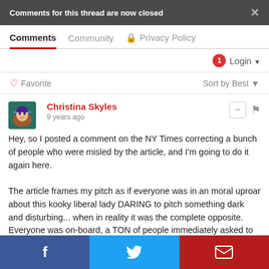Comments for this thread are now closed
Comments  Community  Privacy Policy
Login
♡ Favorite   Sort by Best
Christina Skyles
9 years ago
Hey, so I posted a comment on the NY Times correcting a bunch of people who were misled by the article, and I'm going to do it again here.

The article frames my pitch as if everyone was in an moral uproar about this kooky liberal lady DARING to pitch something dark and disturbing... when in reality it was the complete opposite. Everyone was on-board, a TON of people immediately asked to help animate, and I've had no problem